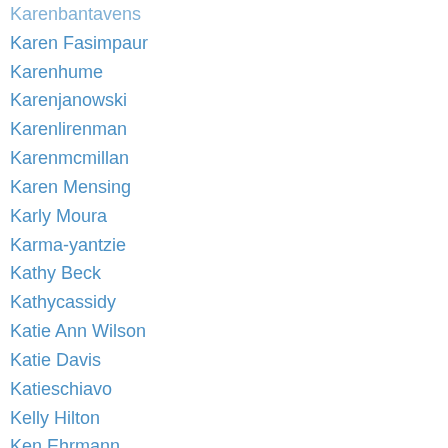Karenbantavens
Karen Fasimpaur
Karenhume
Karenjanowski
Karenlirenman
Karenmcmillan
Karen Mensing
Karly Moura
Karma-yantzie
Kathy Beck
Kathycassidy
Katie Ann Wilson
Katie Davis
Katieschiavo
Kelly Hilton
Ken Ehrmann
Kenshelton
KevinHodgson
Kevinhoneycutt
Khokanson
Kidblog